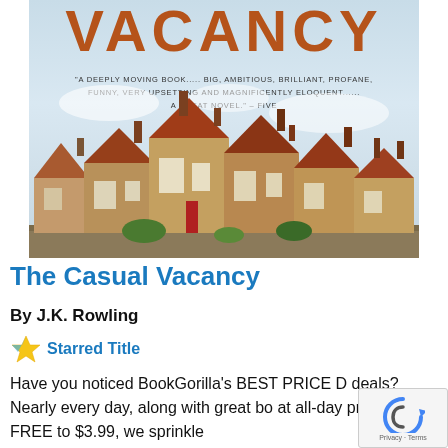[Figure (photo): Book cover of 'The Casual Vacancy' by J.K. Rowling showing the word VACANCY in large brown letters at the top, a quote review below, and a photograph of a row of traditional English stone cottages with terracotta rooftops under a blue sky.]
The Casual Vacancy
By J.K. Rowling
Starred Title
Have you noticed BookGorilla's BEST PRICE deals? Nearly every day, along with great bo at all-day prices from FREE to $3.99, we sprinkle